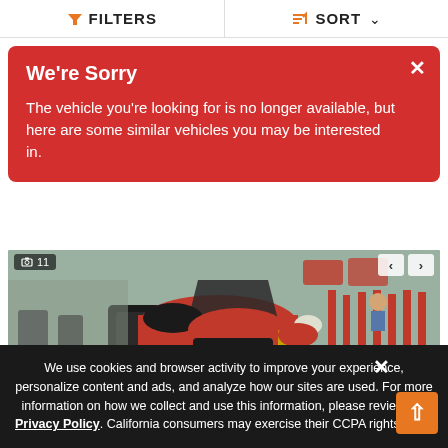FILTERS   SORT
We're Sorry

The vehicle you're looking for is no longer available, but here are some similar vehicles you may be interested in.
[Figure (photo): A red touring motorcycle with black windscreen and panniers displayed inside a motorcycle dealership showroom with multiple motorcycles visible in the background.]
We use cookies and browser activity to improve your experience, personalize content and ads, and analyze how our sites are used. For more information on how we collect and use this information, please review our Privacy Policy. California consumers may exercise their CCPA rights here.